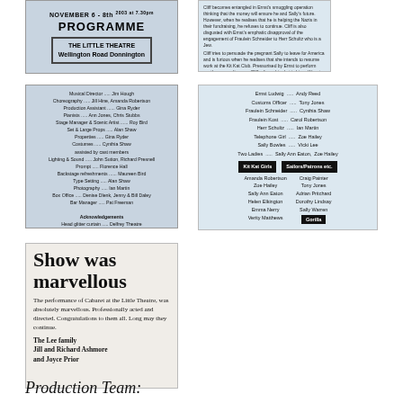[Figure (other): Theatre programme cover: NOVEMBER 6-8th 2003 at 7.30pm, PROGRAMME, THE LITTLE THEATRE, Wellington Road Donnington]
[Figure (other): Synopsis text block from theatre programme, describing the plot of Cabaret]
[Figure (other): Production team credits list including Musical Director Jim Hough, Choreography, Production Assistant, Pianists, Stage Manager, Set, Properties, Costumes, Lighting, Prompt, Backstage refreshments, Type Setting, Photography, Box Office, Bar Manager, Acknowledgements]
[Figure (other): Cast list: Ernst Ludwig - Andy Reed, Customs Officer - Tony Jones, Fraulein Schneider - Cynthia Shaw, Fraulein Kost - Carol Robertson, Herr Schultz - Ian Martin, Telephone Girl - Zoe Hailey, Sally Bowles - Vicki Lee, Two Ladies - Sally Ann Eaton, Zoe Hailey. Kit Kat Girls and Sailors/Patrons etc. listed in two columns.]
[Figure (other): Newspaper clipping with headline 'Show was marvellous', praising the performance of Cabaret at the Little Theatre. Signed: The Lee family, Jill and Richard Ashmore and Joyce Prior.]
Production Team: